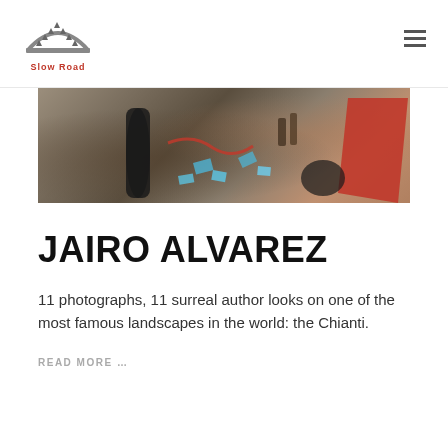Slow Road
[Figure (photo): Overhead shot of craft materials on a rough surface including a black rolled tube, scissors, blue paper scraps, rope, bottles, and a red cloth]
JAIRO ALVAREZ
11 photographs, 11 surreal author looks on one of the most famous landscapes in the world: the Chianti.
READ MORE …